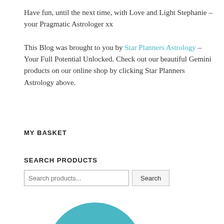Have fun, until the next time, with Love and Light Stephanie – your Pragmatic Astrologer xx

This Blog was brought to you by Star Planners Astrology – Your Full Potential Unlocked. Check out our beautiful Gemini products on our online shop by clicking Star Planners Astrology above.
MY BASKET
SEARCH PRODUCTS
[Figure (logo): Teal circle with white text reading ASTROLOGY, partially visible at bottom of page]